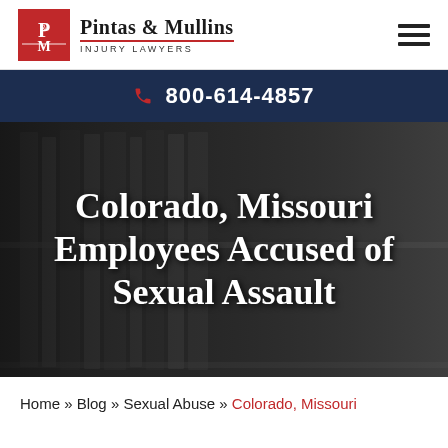[Figure (logo): Pintas & Mullins Injury Lawyers logo with red P&M badge and firm name]
800-614-4857
Colorado, Missouri Employees Accused of Sexual Assault
Home » Blog » Sexual Abuse » Colorado, Missouri